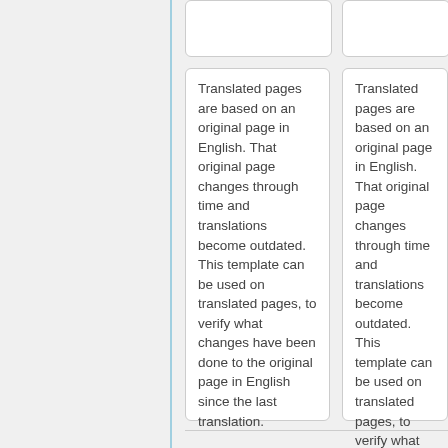Translated pages are based on an original page in English. That original page changes through time and translations become outdated. This template can be used on translated pages, to verify what changes have been done to the original page in English since the last translation.
Translated pages are based on an original page in English. That original page changes through time and translations become outdated. This template can be used on translated pages, to verify what changes have been done to the original page in English since the last translation.